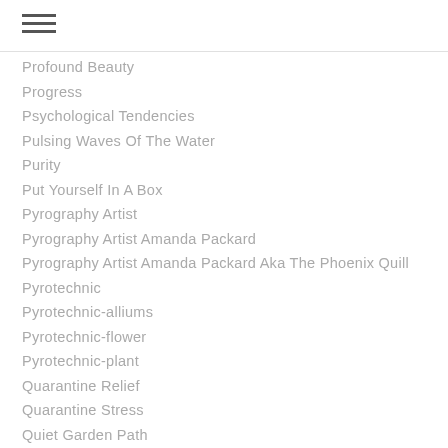Profound Beauty
Progress
Psychological Tendencies
Pulsing Waves Of The Water
Purity
Put Yourself In A Box
Pyrography Artist
Pyrography Artist Amanda Packard
Pyrography Artist Amanda Packard Aka The Phoenix Quill
Pyrotechnic
Pyrotechnic-alliums
Pyrotechnic-flower
Pyrotechnic-plant
Quarantine Relief
Quarantine Stress
Quiet Garden Path
Quietly Grazing Horses
Rail Fences